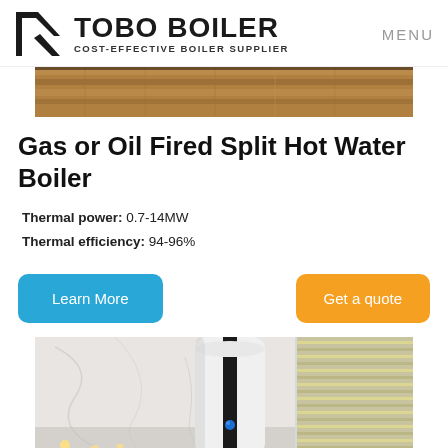TOBO BOILER COST-EFFECTIVE BOILER SUPPLIER | MENU
[Figure (photo): Top portion of a wooden floor interior photo, cropped at top of page]
Gas or Oil Fired Split Hot Water Boiler
Thermal power: 0.7-14MW
Thermal efficiency: 94-96%
Learn More
Get a quote
[Figure (photo): Modern white cylindrical boiler unit mounted in a marble-walled room with venetian blinds visible on the right]